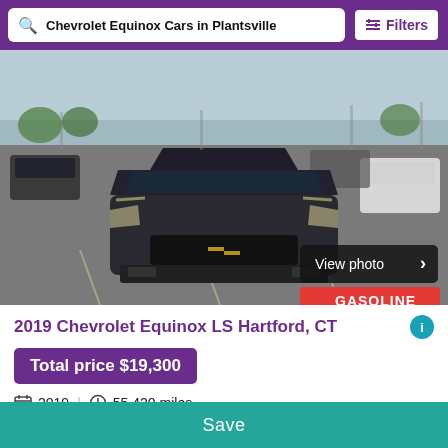Chevrolet Equinox Cars in Plantsville | Filters
[Figure (photo): Front view of a dark-colored 2019 Chevrolet Equinox in a parking lot with other vehicles. A 'View photo' button appears in the lower right of the image, and a 'GASOLINE' badge is shown at the bottom right.]
2019 Chevrolet Equinox LS Hartford, CT
Total price $19,300
2019 | 55,420 miles
Hartford, Connecticut
Save